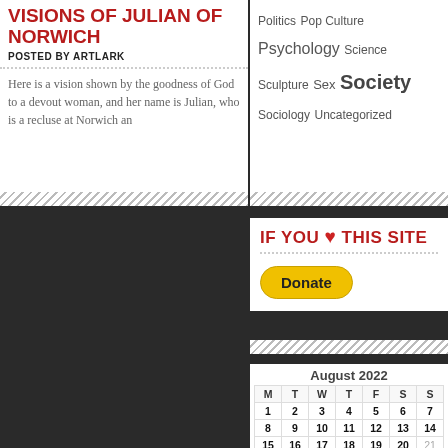VISIONS OF JULIAN OF NORWICH
POSTED BY ARTLARK
Here is a vision shown by the goodness of God to a devout woman, and her name is Julian, who is a recluse at Norwich an
Politics Pop Culture Psychology Science Sculpture Sex Society Sociology Uncategorized
IF YOU ♥ THIS SITE
Donate
| M | T | W | T | F | S | S |
| --- | --- | --- | --- | --- | --- | --- |
| 1 | 2 | 3 | 4 | 5 | 6 | 7 |
| 8 | 9 | 10 | 11 | 12 | 13 | 14 |
| 15 | 16 | 17 | 18 | 19 | 20 | 21 |
| 22 | 23 | 24 | 25 | 26 | 27 | 28 |
|  | 30 | 31 |  |  |  |  |